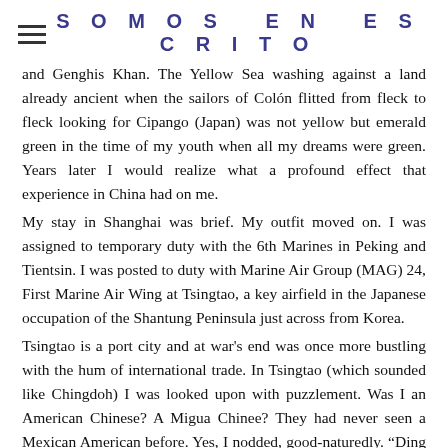SOMOS EN ESCRITO
and Genghis Khan. The Yellow Sea washing against a land already ancient when the sailors of Colón flitted from fleck to fleck looking for Cipango (Japan) was not yellow but emerald green in the time of my youth when all my dreams were green. Years later I would realize what a profound effect that experience in China had on me.
My stay in Shanghai was brief. My outfit moved on. I was assigned to temporary duty with the 6th Marines in Peking and Tientsin. I was posted to duty with Marine Air Group (MAG) 24, First Marine Air Wing at Tsingtao, a key airfield in the Japanese occupation of the Shantung Peninsula just across from Korea.
Tsingtao is a port city and at war's end was once more bustling with the hum of international trade. In Tsingtao (which sounded like Chingdoh) I was looked upon with puzzlement. Was I an American Chinese? A Migua Chinee? They had never seen a Mexican American before. Yes, I nodded, good-naturedly. “Ding hao, ding hao!” Good, good! the Chinese responded with smiles of approbation.